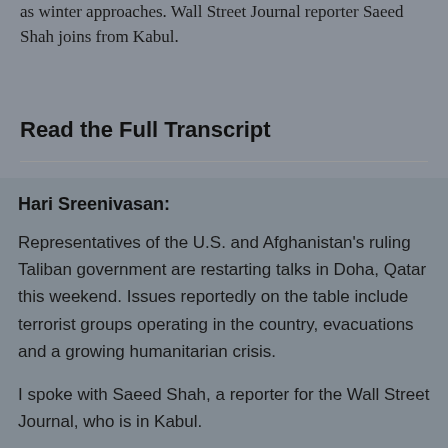as winter approaches. Wall Street Journal reporter Saeed Shah joins from Kabul.
Read the Full Transcript
Hari Sreenivasan:
Representatives of the U.S. and Afghanistan's ruling Taliban government are restarting talks in Doha, Qatar this weekend. Issues reportedly on the table include terrorist groups operating in the country, evacuations and a growing humanitarian crisis.
I spoke with Saeed Shah, a reporter for the Wall Street Journal, who is in Kabul.